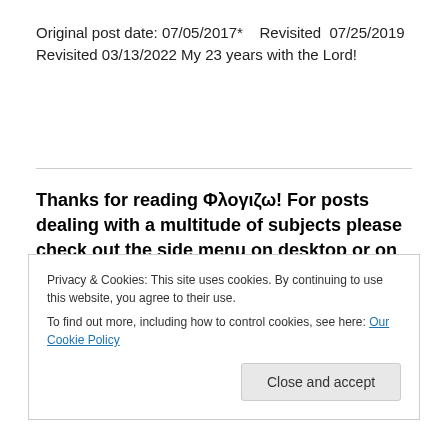Original post date: 07/05/2017*    Revisited  07/25/2019
Revisited 03/13/2022 My 23 years with the Lord!
Thanks for reading Φλογιζω! For posts dealing with a multitude of subjects please check out the side menu on desktop or on a mobile device, please click any post title and once it opens scroll to bottom of screen for links to other options. If you have been
Privacy & Cookies: This site uses cookies. By continuing to use this website, you agree to their use.
To find out more, including how to control cookies, see here: Our Cookie Policy
Close and accept